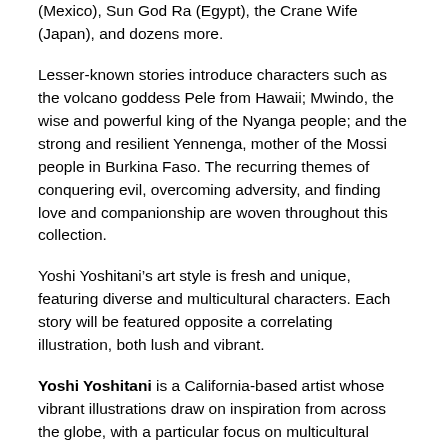(Mexico), Sun God Ra (Egypt), the Crane Wife (Japan), and dozens more.
Lesser-known stories introduce characters such as the volcano goddess Pele from Hawaii; Mwindo, the wise and powerful king of the Nyanga people; and the strong and resilient Yennenga, mother of the Mossi people in Burkina Faso. The recurring themes of conquering evil, overcoming adversity, and finding love and companionship are woven throughout this collection.
Yoshi Yoshitani’s art style is fresh and unique, featuring diverse and multicultural characters. Each story will be featured opposite a correlating illustration, both lush and vibrant.
Yoshi Yoshitani is a California-based artist whose vibrant illustrations draw on inspiration from across the globe, with a particular focus on multicultural identity. Past clients include